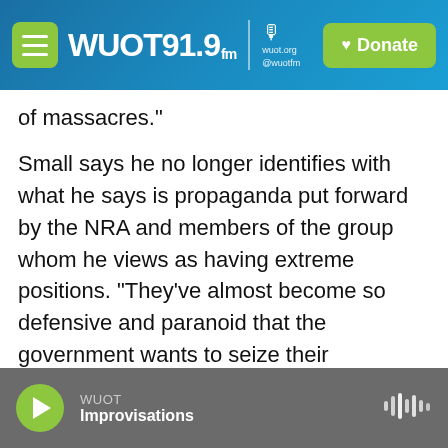WUOT 91.9 FM | wuot.org @wuotfm | Donate
of massacres."
Small says he no longer identifies with what he says is propaganda put forward by the NRA and members of the group whom he views as having extreme positions. "They've almost become so defensive and paranoid that the government wants to seize their weapons," which he believes to be rhetoric intended to scare gun owners. "They're walking around with these ARs, you know, flamboyantly, downtown protesting," Small says. "This has gotten out of hand, you know, it's so crazy."
WUOT | Improvisations